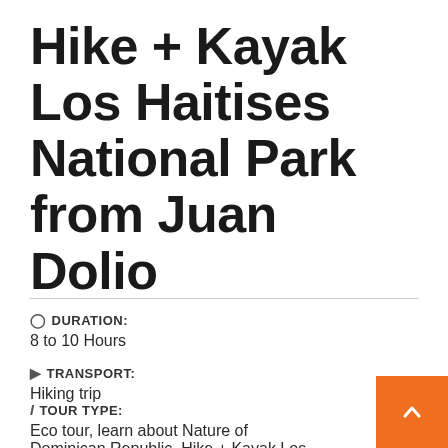Hike + Kayak Los Haitises National Park from Juan Dolio
DURATION:
8 to 10 Hours
TRANSPORT:
Hiking trip
TOUR TYPE:
Eco tour, learn about Nature of Dominican Republic, Hike + Kayak Los